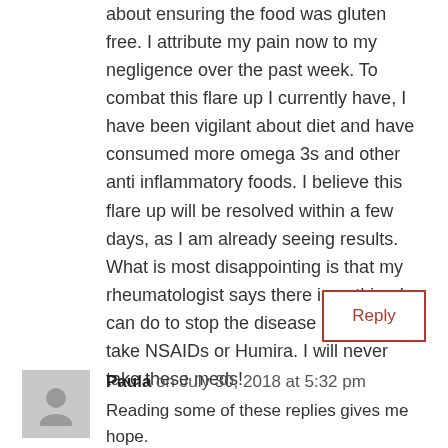about ensuring the food was gluten free. I attribute my pain now to my negligence over the past week. To combat this flare up I currently have, I have been vigilant about diet and have consumed more omega 3s and other anti inflammatory foods. I believe this flare up will be resolved within a few days, as I am already seeing results. What is most disappointing is that my rheumatologist says there is nothing I can do to stop the disease except to take NSAIDs or Humira. I will never take these meds!
Reply
Paula on July 30, 2018 at 5:32 pm
Reading some of these replies gives me hope. A little. I have had years of progressive pain